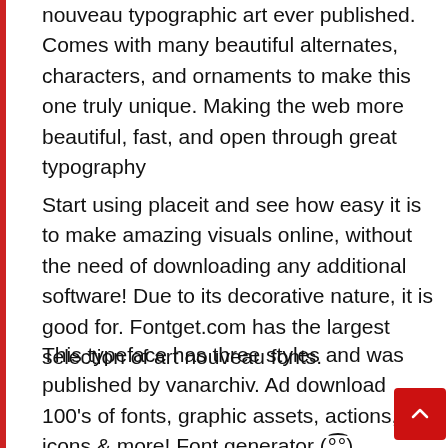nouveau typographic art ever published. Comes with many beautiful alternates, characters, and ornaments to make this one truly unique. Making the web more beautiful, fast, and open through great typography
Start using placeit and see how easy it is to make amazing visuals online, without the need of downloading any additional software! Due to its decorative nature, it is good for. Fontget.com has the largest selection of art nouveau fonts.
This typeface has three styles and was published by vanarchiv. Ad download 100's of fonts, graphic assets, actions, icons & more! Font generator (∘͜͡∘) designers;